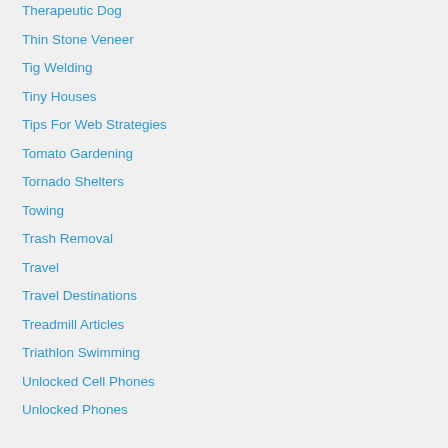Therapeutic Dog
Thin Stone Veneer
Tig Welding
Tiny Houses
Tips For Web Strategies
Tomato Gardening
Tornado Shelters
Towing
Trash Removal
Travel
Travel Destinations
Treadmill Articles
Triathlon Swimming
Unlocked Cell Phones
Unlocked Phones